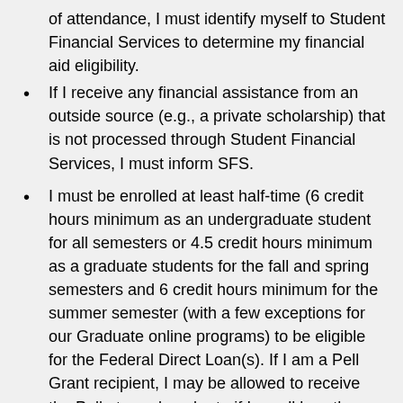of attendance, I must identify myself to Student Financial Services to determine my financial aid eligibility.
If I receive any financial assistance from an outside source (e.g., a private scholarship) that is not processed through Student Financial Services, I must inform SFS.
I must be enrolled at least half-time (6 credit hours minimum as an undergraduate student for all semesters or 4.5 credit hours minimum as a graduate students for the fall and spring semesters and 6 credit hours minimum for the summer semester (with a few exceptions for our Graduate online programs) to be eligible for the Federal Direct Loan(s). If I am a Pell Grant recipient, I may be allowed to receive the Pell at a reduced rate if I enroll less than half time.
Undergraduates must be enrolled full-time (12 credit hours per semester) to receive most types of financial aid. If I enroll less than full-time, my financial aid awards (including Federal Direct Loans, University of Delaware grants/scholarships, Federal Perkins Loan, and the Federal Supplemental